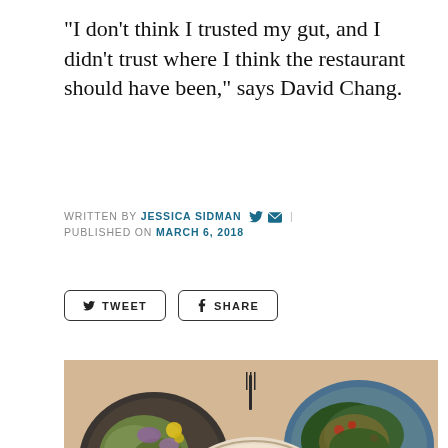"I don't think I trusted my gut, and I didn't trust where I think the restaurant should have been," says David Chang.
WRITTEN BY JESSICA SIDMAN | PUBLISHED ON MARCH 6, 2018
[Figure (photo): Overhead photo of multiple restaurant dishes on a wooden table including a seafood dish with shrimp and herbs in center, a salad with colorful vegetables on left, a green grain salad on top right, and a salmon dish on bottom right.]